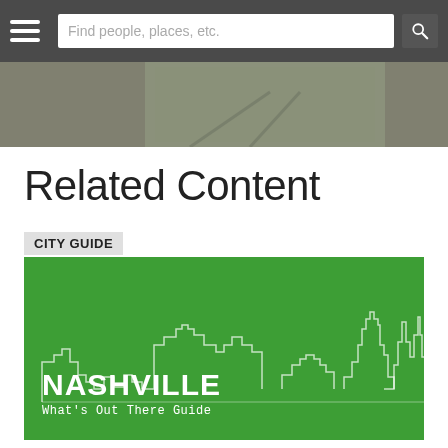Find people, places, etc.
[Figure (screenshot): Partial landscape photo strip]
Related Content
CITY GUIDE
[Figure (illustration): Nashville city guide card with green background showing white skyline outline illustration, text reads NASHVILLE What's Out There Guide]